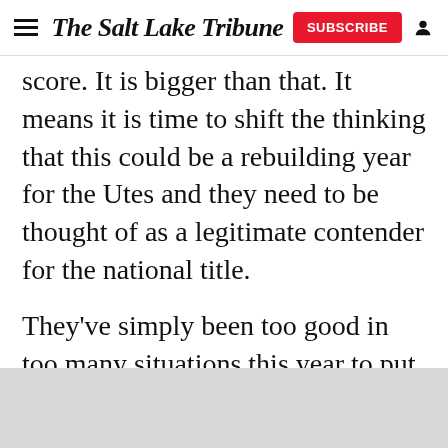The Salt Lake Tribune | SUBSCRIBE
score. It is bigger than that. It means it is time to shift the thinking that this could be a rebuilding year for the Utes and they need to be thought of as a legitimate contender for the national title.
They've simply been too good in too many situations this year to put them in any other category.
“It feels amazing,” said Utah senior Kim Tessen. “We obviously still have some things that could have been